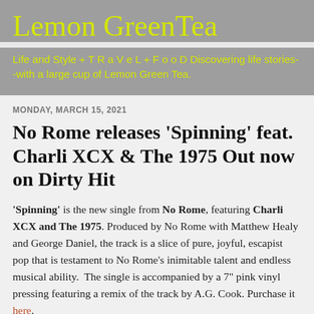Lemon GreenTea
Life and Style + T R a V e L + F o o D Discovering life stories--with a large cup of Lemon Green Tea.
MONDAY, MARCH 15, 2021
No Rome releases ‘Spinning’ feat. Charli XCX & The 1975 Out now on Dirty Hit
‘Spinning’ is the new single from No Rome, featuring Charli XCX and The 1975. Produced by No Rome with Matthew Healy and George Daniel, the track is a slice of pure, joyful, escapist pop that is testament to No Rome’s inimitable talent and endless musical ability.  The single is accompanied by a 7" pink vinyl pressing featuring a remix of the track by A.G. Cook. Purchase it here.